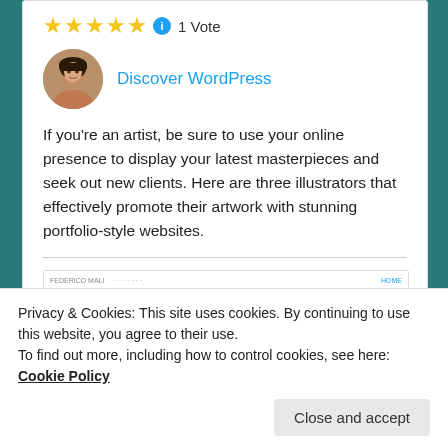★★★★★ ℹ 1 Vote
[Figure (photo): Profile photo of a woman with dark hair]
Discover WordPress
If you're an artist, be sure to use your online presence to display your latest masterpieces and seek out new clients. Here are three illustrators that effectively promote their artwork with stunning portfolio-style websites.
[Figure (screenshot): Screenshot of a website showing three image panels with desert, pirate flag, and teal imagery]
Privacy & Cookies: This site uses cookies. By continuing to use this website, you agree to their use.
To find out more, including how to control cookies, see here: Cookie Policy
Close and accept